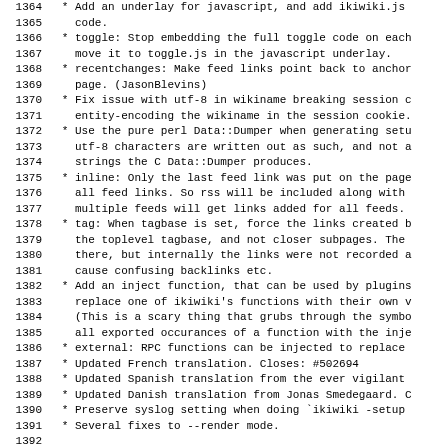1364   * Add an underlay for javascript, and add ikiwiki.js
1365     code.
1366   * toggle: Stop embedding the full toggle code on each
1367     move it to toggle.js in the javascript underlay.
1368   * recentchanges: Make feed links point back to anchor
1369     page. (JasonBlevins)
1370   * Fix issue with utf-8 in wikiname breaking session c
1371     entity-encoding the wikiname in the session cookie.
1372   * Use the pure perl Data::Dumper when generating setu
1373     utf-8 characters are written out as such, and not a
1374     strings the C Data::Dumper produces.
1375   * inline: Only the last feed link was put on the page
1376     all feed links. So rss will be included along with
1377     multiple feeds will get links added for all feeds.
1378   * tag: When tagbase is set, force the links created b
1379     the toplevel tagbase, and not closer subpages. The
1380     there, but internally the links were not recorded a
1381     cause confusing backlinks etc.
1382   * Add an inject function, that can be used by plugins
1383     replace one of ikiwiki's functions with their own v
1384     (This is a scary thing that grubs through the symbo
1385     all exported occurances of a function with the inje
1386   * external: RPC functions can be injected to replace
1387   * Updated French translation. Closes: #502694
1388   * Updated Spanish translation from the ever vigilant
1389   * Updated Danish translation from Jonas Smedegaard. C
1390   * Preserve syslog setting when doing `ikiwiki -setup
1391   * Several fixes to --render mode.
1392
1393  -- Joey Hess <joeyh@debian.org>  Mon, 03 Nov 2008 16:3
1394
1395 ikiwiki (2.67) unstable; urgency=low